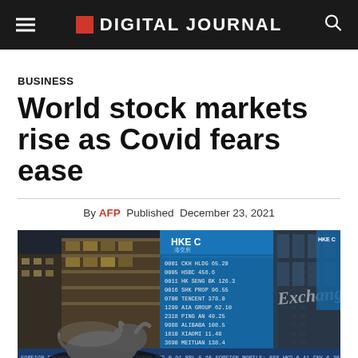DIGITAL JOURNAL
BUSINESS
World stock markets rise as Covid fears ease
By AFP  Published  December 23, 2021
[Figure (photo): Hong Kong Stock Exchange building exterior with blue ticker board showing stock prices and a bull statue in the foreground]